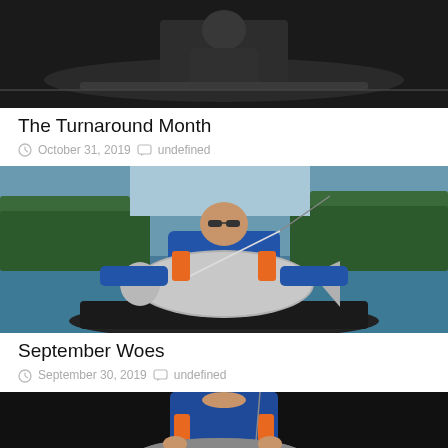[Figure (photo): Person in dark clothing sitting in a kayak/canoe, dark background, top portion of image visible]
The Turnaround Month
October 31, 2019   undefined
[Figure (photo): Person in blue shirt and sunglasses sitting in a kayak on a lake, holding a very large fish (catfish), green trees in background]
September Woes
September 30, 2019   undefined
[Figure (photo): Person in blue shirt and orange life vest sitting in a kayak at night, holding a large fish, dark background]